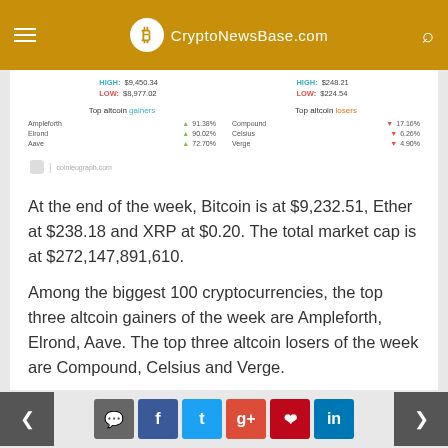CryptoNewsBase.com
[Figure (screenshot): Crypto market data widget showing HIGH/LOW prices for Bitcoin ($9,450.34 / $8,977.02) and Ethereum ($248.21 / $224.54), and top altcoin gainers (Ampleforth 91.38%, Elrond 90.02%, Aave 72.70%) and losers (Compound 17.16%, Celsius 6.26%, Verge 4.90%). Source: coinleograph.com]
At the end of the week, Bitcoin is at $9,232.51, Ether at $238.18 and XRP at $0.20. The total market cap is at $272,147,891,610.
Among the biggest 100 cryptocurrencies, the top three altcoin gainers of the week are Ampleforth, Elrond, Aave. The top three altcoin losers of the week are Compound, Celsius and Verge.
< comment f t g+ p in >